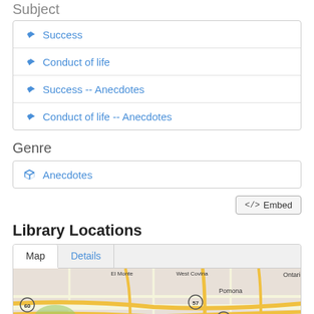Subject
Success
Conduct of life
Success -- Anecdotes
Conduct of life -- Anecdotes
Genre
Anecdotes
</> Embed
Library Locations
[Figure (map): Map view showing El Monte, West Covina, Pomona, Ontario area with roads and highways including routes 60, 164, 39, 57, 605]